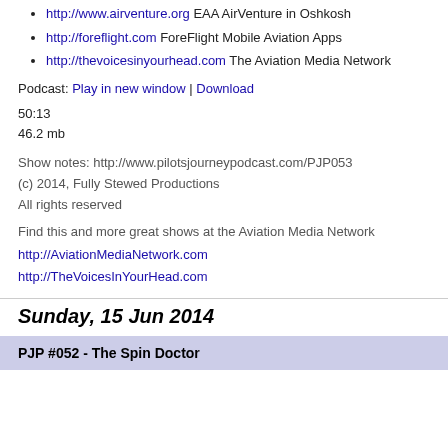http://www.airventure.org EAA AirVenture in Oshkosh
http://foreflight.com ForeFlight Mobile Aviation Apps
http://thevoicesinyourhead.com The Aviation Media Network
Podcast: Play in new window | Download
50:13
46.2 mb
Show notes: http://www.pilotsjourneypodcast.com/PJP053
(c) 2014, Fully Stewed Productions
All rights reserved
Find this and more great shows at the Aviation Media Network
http://AviationMediaNetwork.com
http://TheVoicesInYourHead.com
Sunday, 15 Jun 2014
PJP #052 - The Spin Doctor